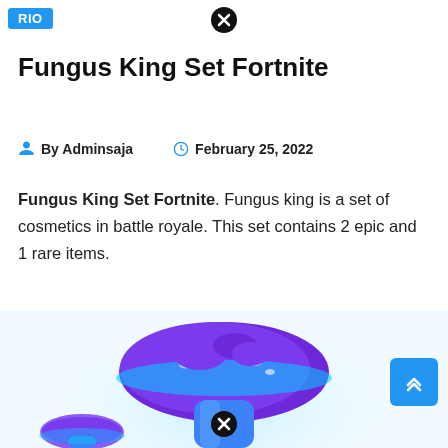RIO
Fungus King Set Fortnite
By Adminsaja   February 25, 2022
Fungus King Set Fortnite. Fungus king is a set of cosmetics in battle royale. This set contains 2 epic and 1 rare items.
[Figure (illustration): 3D rendered illustration of Fortnite Fungus King set mushroom characters — large purple and blue glowing mushroom figures]